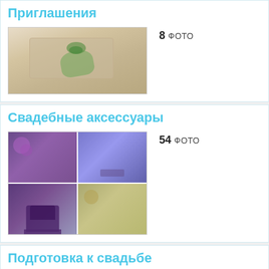Приглашения
[Figure (photo): Wedding invitation with lace and green ribbon bow]
8 Фото
Свадебные аксессуары
[Figure (photo): Collage of 4 wedding accessory photos with purple flowers and decorated cake]
54 Фото
Подготовка к свадьбе
[Figure (photo): Bridesmaids in light dresses with floral crowns]
18 Фото